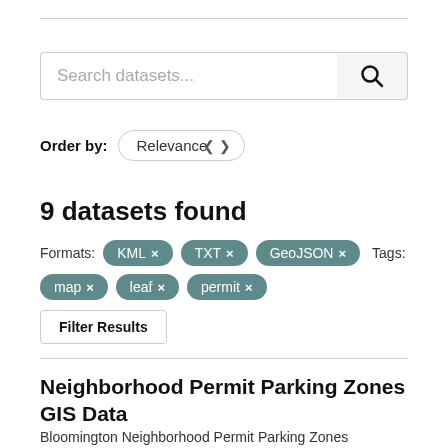[Figure (screenshot): Search datasets input box with search button (magnifying glass icon)]
Order by: Relevance
9 datasets found
Formats: KML × TXT × GeoJSON × Tags: map × leaf × permit ×
Filter Results
Neighborhood Permit Parking Zones GIS Data
Bloomington Neighborhood Permit Parking Zones